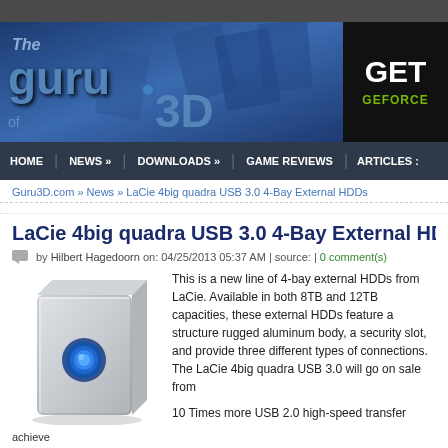[Figure (logo): The Guru of 3D website header/banner with logo and NVIDIA GET GEFORCE advertisement]
HOME | NEWS » | DOWNLOADS » | GAME REVIEWS | ARTICLES
Guru3D.com » News » LaCie 4big quadra USB 3.0 4-Bay External HDDs
LaCie 4big quadra USB 3.0 4-Bay External HDDs
by Hilbert Hagedoorn on: 04/25/2013 05:37 AM | source: | 0 comment(s)
[Figure (photo): LaCie 4big quadra USB 3.0 external hard drive - white/silver cube-shaped device with blue circular element on front]
This is a new line of 4-bay external HDDs from LaCie. Available in both 8TB and 12TB capacities, these external HDDs feature a structure rugged aluminum body, a security slot, and provide three different types of connections. The LaCie 4big quadra USB 3.0 will go on sale from
10 Times more USB 2.0 high-speed transfer
achieve